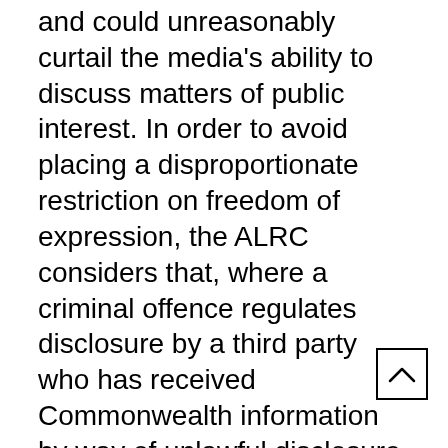and could unreasonably curtail the media's ability to discuss matters of public interest. In order to avoid placing a disproportionate restriction on freedom of expression, the ALRC considers that, where a criminal offence regulates disclosure by a third party who has received Commonwealth information by way of unlawful disclosure, several safeguards should be put in place.
9.128   First, the ALRC considers that offences for the subsequent